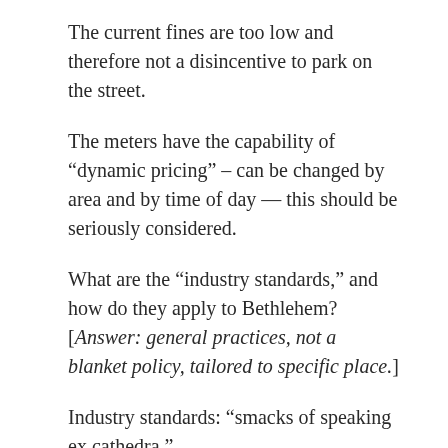The current fines are too low and therefore not a disincentive to park on the street.
The meters have the capability of “dynamic pricing” – can be changed by area and by time of day — this should be seriously considered.
What are the “industry standards,” and how do they apply to Bethlehem? [Answer: general practices, not a blanket policy, tailored to specific place.]
Industry standards: “smacks of speaking ex cathedra.”
Often overlooked is the danger of setting rates so high that people don’t come.
The suggested raise might seem minimal, but there are some people who are on the cusp, and an increase might